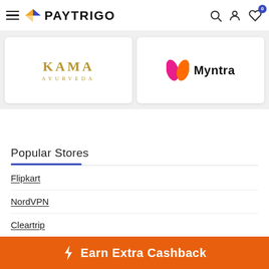PAYTRIGO
[Figure (logo): Kama Ayurveda logo in gold/brown serif text]
[Figure (logo): Myntra logo with pink/orange M icon and Myntra text]
Popular Stores
Flipkart
NordVPN
Cleartrip
Domino's
Earn Extra Cashback